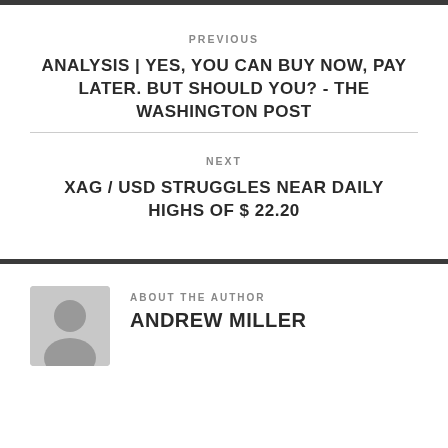PREVIOUS
ANALYSIS | YES, YOU CAN BUY NOW, PAY LATER. BUT SHOULD YOU? - THE WASHINGTON POST
NEXT
XAG / USD STRUGGLES NEAR DAILY HIGHS OF $ 22.20
ABOUT THE AUTHOR
ANDREW MILLER